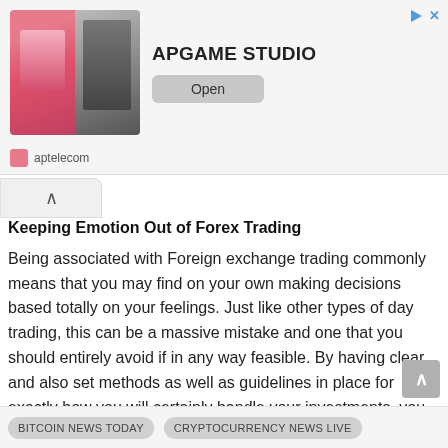[Figure (screenshot): Advertisement banner for APGAME STUDIO showing two game screenshots on the left, bold text 'APGAME STUDIO', an 'Open' button, and 'aptelecom' sponsor label below.]
Keeping Emotion Out of Forex Trading
Being associated with Foreign exchange trading commonly means that you may find on your own making decisions based totally on your feelings. Just like other types of day trading, this can be a massive mistake and one that you should entirely avoid if in any way feasible. By having clear and also set methods as well as guidelines in place for exactly how you will certainly handle your investments, you are going to provide on your own what is called entry and also departure factors.
BITCOIN NEWS TODAY    CRYPTOCURRENCY NEWS LIVE